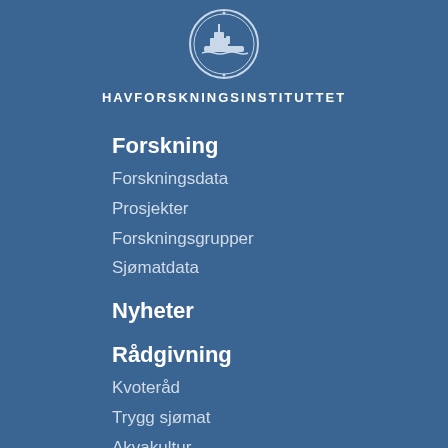[Figure (logo): Havforskningsinstituttet circular logo/seal in white on blue background]
HAVFORSKNINGSINSTITUTTET
Forskning
Forskningsdata
Prosjekter
Forskningsgrupper
Sjømatdata
Nyheter
Rådgivning
Kvoteråd
Trygg sjømat
Akvakultur
Forvaltningsplaner